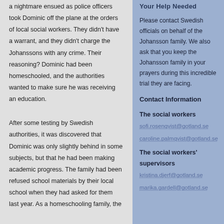a nightmare ensued as police officers took Dominic off the plane at the orders of local social workers. They didn't have a warrant, and they didn't charge the Johanssons with any crime. Their reasoning? Dominic had been homeschooled, and the authorities wanted to make sure he was receiving an education.
After some testing by Swedish authorities, it was discovered that Dominic was only slightly behind in some subjects, but that he had been making academic progress. The family had been refused school materials by their local school when they had asked for them last year. As a homeschooling family, the
Your Help Needed
Please contact Swedish officials on behalf of the Johansson family. We also ask that you keep the Johansson family in your prayers during this incredible trial they are facing.
Contact Information
The social workers
sofi.rosenqvist@gotland.se
caroline.palmqvist@gotland.se
The social workers' supervisors
kristina.djerf@gotland.se
marika.gardell@gotland.se